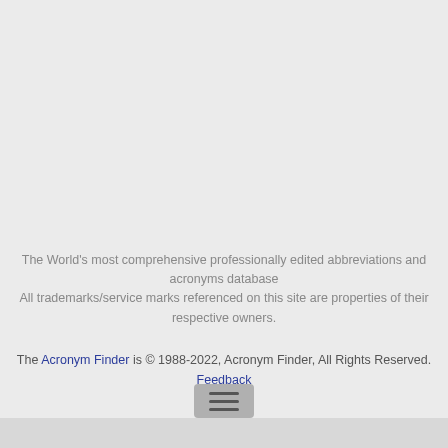The World's most comprehensive professionally edited abbreviations and acronyms database
All trademarks/service marks referenced on this site are properties of their respective owners.
The Acronym Finder is © 1988-2022, Acronym Finder, All Rights Reserved. Feedback